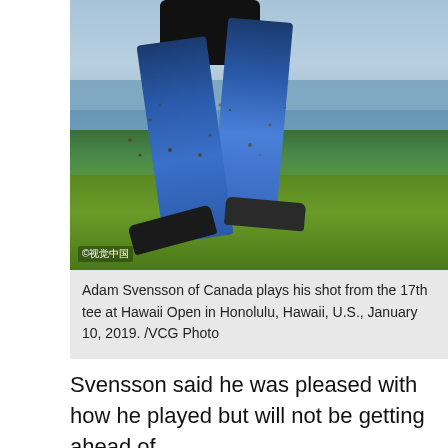[Figure (photo): A golfer (Adam Svensson) photographed from the waist down, wearing blue jeans and dark shoes, mid-swing on a golf course fairway with ocean and sky visible in the background. Dirt and debris fly from the tee. A Chinese watermark (©视觉中国) appears in the bottom left corner of the photo.]
Adam Svensson of Canada plays his shot from the 17th tee at Hawaii Open in Honolulu, Hawaii, U.S., January 10, 2019. /VCG Photo
Svensson said he was pleased with how he played but will not be getting ahead of